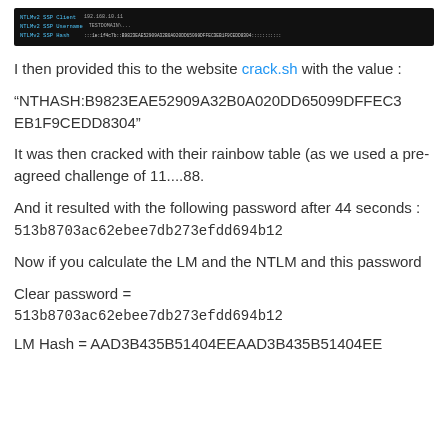[Figure (screenshot): Terminal/command-line screenshot showing NTLMv2 SSP Client, NTLMv2 SSP Username, and NTLMv2 SSP Hash fields with dark background]
I then provided this to the website crack.sh with the value :
“NTHASH:B9823EAE52909A32B0A020DD65099DFFEC3EB1F9CEDD8304”
It was then cracked with their rainbow table (as we used a pre-agreed challenge of 11....88.
And it resulted with the following password after 44 seconds : 513b8703ac62ebee7db273efdd694b12
Now if you calculate the LM and the NTLM and this password
Clear password = 513b8703ac62ebee7db273efdd694b12
LM Hash = AAD3B435B51404EEAAD3B435B51404EE